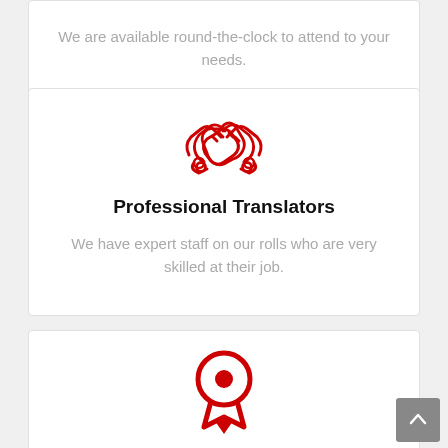We are available round-the-clock to attend to your needs.
[Figure (illustration): Red handshake icon representing professional translators]
Professional Translators
We have expert staff on our rolls who are very skilled at their job.
[Figure (illustration): Red award/medal ribbon icon representing certified translation services]
Certified Translation Services